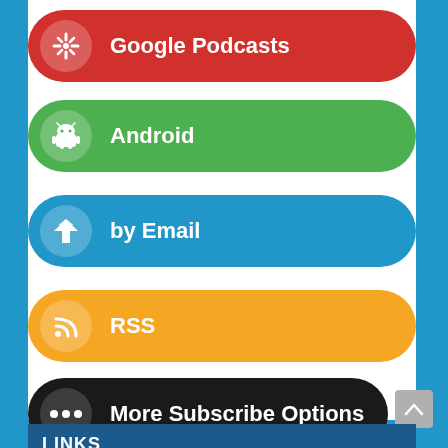Google Podcasts
Android
by Email
RSS
More Subscribe Options
LINKS
@WinObs on Twitter